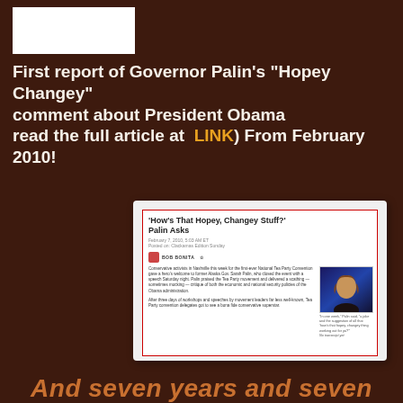[Figure (other): White rectangle logo/image box in top left corner]
First report of Governor Palin's "Hopey Changey" comment about President Obama read the full article at  LINK) From February 2010!
[Figure (screenshot): Screenshot of news article titled 'How's That Hopey, Changey Stuff?' Palin Asks, from February 7, 2010, with article text about the National Tea Party Convention and a photo of Sarah Palin speaking]
And seven years and seven